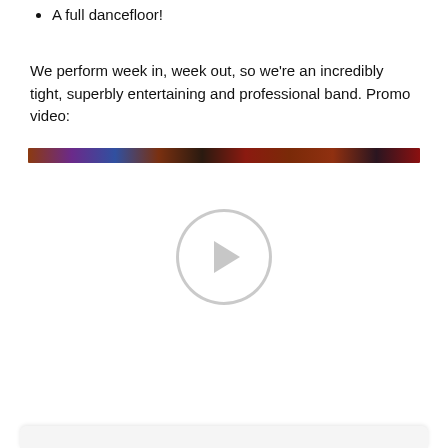A full dancefloor!
We perform week in, week out, so we're an incredibly tight, superbly entertaining and professional band. Promo video:
[Figure (other): Embedded video player with a narrow colorful thumbnail strip at top showing a live band performance scene in warm red and purple stage lighting, and a large circular play button in the center of a white area below.]